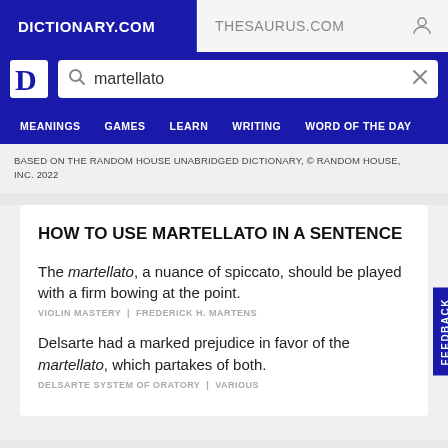DICTIONARY.COM    THESAURUS.COM
BASED ON THE RANDOM HOUSE UNABRIDGED DICTIONARY, © RANDOM HOUSE, INC. 2022
HOW TO USE MARTELLATO IN A SENTENCE
The martellato, a nuance of spiccato, should be played with a firm bowing at the point.
VIOLIN MASTERY | FREDERICK H. MARTENS
Delsarte had a marked prejudice in favor of the martellato, which partakes of both.
DELSARTE SYSTEM OF ORATORY | VARIOUS